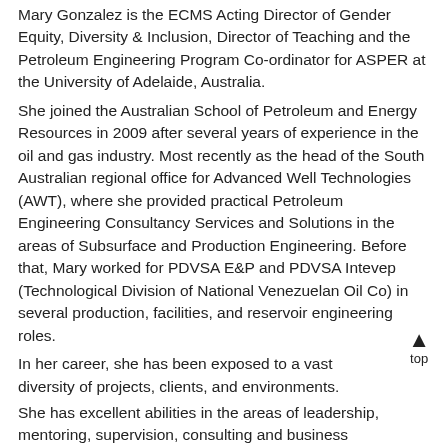Mary Gonzalez is the ECMS Acting Director of Gender Equity, Diversity & Inclusion, Director of Teaching and the Petroleum Engineering Program Co-ordinator for ASPER at the University of Adelaide, Australia.
She joined the Australian School of Petroleum and Energy Resources in 2009 after several years of experience in the oil and gas industry. Most recently as the head of the South Australian regional office for Advanced Well Technologies (AWT), where she provided practical Petroleum Engineering Consultancy Services and Solutions in the areas of Subsurface and Production Engineering. Before that, Mary worked for PDVSA E&P and PDVSA Intevep (Technological Division of National Venezuelan Oil Co) in several production, facilities, and reservoir engineering roles.
In her career, she has been exposed to a vast diversity of projects, clients, and environments.
She has excellent abilities in the areas of leadership, mentoring, supervision, consulting and business